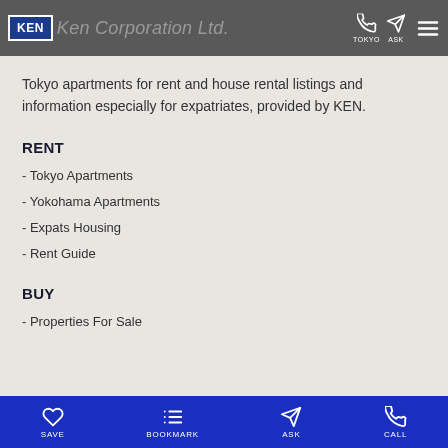KEN Corporation Ltd. | TOKYO | ASK
Tokyo apartments for rent and house rental listings and information especially for expatriates, provided by KEN.
RENT
- Tokyo Apartments
- Yokohama Apartments
- Expats Housing
- Rent Guide
BUY
- Properties For Sale
SAVE | BOOKMARK | ASK | CALL